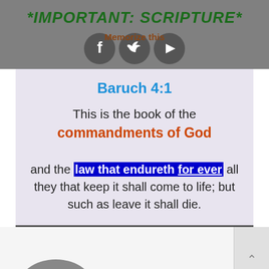*IMPORTANT: SCRIPTURE*
[Figure (screenshot): Social media share icons (Facebook, Twitter, YouTube) with 'Memorize this' label overlay on gray background]
Baruch 4:1
This is the book of the commandments of God and the law that endureth for ever all they that keep it shall come to life; but such as leave it shall die.
[Figure (photo): Partial dark curved shape visible at bottom of page, likely a book or object]